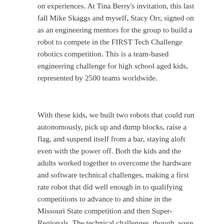on experiences. At Tina Berry's invitation, this last fall Mike Skaggs and myself, Stacy Orr, signed on as an engineering mentors for the group to build a robot to compete in the FIRST Tech Challenge robotics competition. This is a team-based engineering challenge for high school aged kids, represented by 2500 teams worldwide.
With these kids, we built two robots that could run autonomously, pick up and dump blocks, raise a flag, and suspend itself from a bar, staying aloft even with the power off. Both the kids and the adults worked together to overcome the hardware and software technical challenges, making a first rate robot that did well enough in to qualifying competitions to advance to and shine in the Missouri State competition and then Super-Regionals. The technical challenges, though, were only a piece of the puzzle. Not only were the kids there to compete, they worked in alliances with other teams. Each alliance had to take the strengths of each team and optimize their strategies to win a